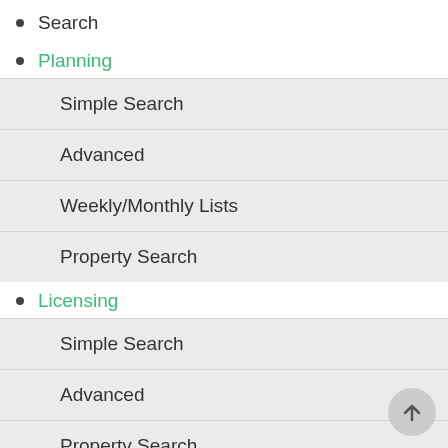Search
Planning
Simple Search
Advanced
Weekly/Monthly Lists
Property Search
Licensing
Simple Search
Advanced
Property Search
User
My Profile
Profile Details